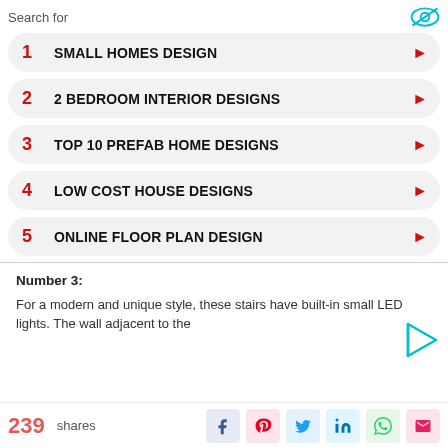Search for
1  SMALL HOMES DESIGN
2  2 BEDROOM INTERIOR DESIGNS
3  TOP 10 PREFAB HOME DESIGNS
4  LOW COST HOUSE DESIGNS
5  ONLINE FLOOR PLAN DESIGN
Number 3:
For a modern and unique style, these stairs have built-in small LED lights. The wall adjacent to the
239 shares